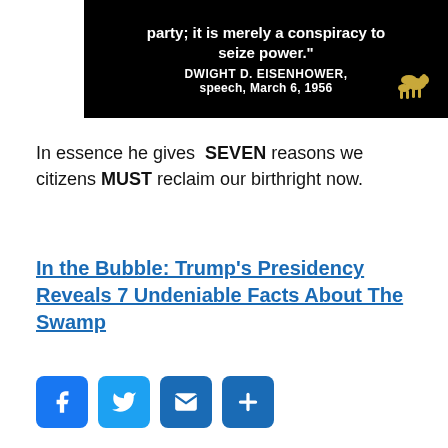[Figure (screenshot): Black background image with white bold text showing a quote ending 'party; it is merely a conspiracy to seize power.' attributed to DWIGHT D. EISENHOWER, speech, March 6, 1956, with a small golden horse and rider icon in the lower right corner.]
In essence he gives SEVEN reasons we citizens MUST reclaim our birthright now.
In the Bubble: Trump's Presidency Reveals 7 Undeniable Facts About The Swamp